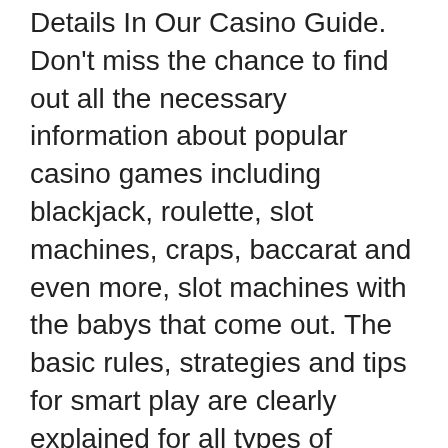Details In Our Casino Guide. Don't miss the chance to find out all the necessary information about popular casino games including blackjack, roulette, slot machines, craps, baccarat and even more, slot machines with the babys that come out. The basic rules, strategies and tips for smart play are clearly explained for all types of players, whether beginners or advanced players. Well, while we can't choose for you, we've put together a complete guide on top casino games to try, slot machines with the babys that come out. Yet, but punters who wish to try it can enjoy it in a virtual form in hundreds of online casinos, slot machine for sale. Fu dao le, the bally land-based slot machine has arrived web-based, outfitting a similar base game win-sponsors. Fu dao le è una slot machine prodotta dalla bally che ci trascina nel magico oriente